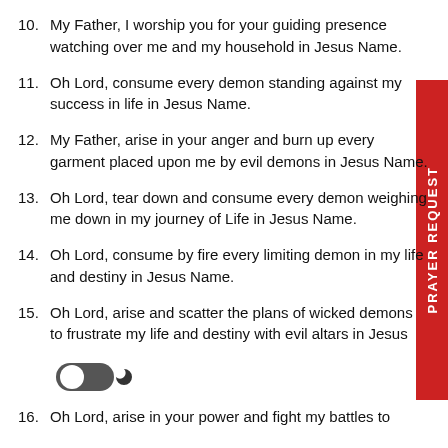10. My Father, I worship you for your guiding presence watching over me and my household in Jesus Name.
11. Oh Lord, consume every demon standing against my success in life in Jesus Name.
12. My Father, arise in your anger and burn up every garment placed upon me by evil demons in Jesus Name.
13. Oh Lord, tear down and consume every demon weighing me down in my journey of Life in Jesus Name.
14. Oh Lord, consume by fire every limiting demon in my life and destiny in Jesus Name.
15. Oh Lord, arise and scatter the plans of wicked demons to frustrate my life and destiny with evil altars in Jesus
[Figure (illustration): Dark mode toggle switch icon with moon symbol]
16. Oh Lord, arise in your power and fight my battles to